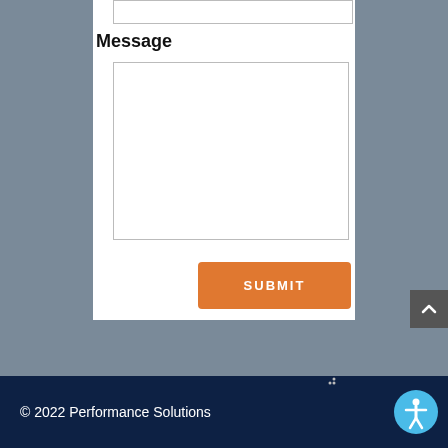Message
[Figure (screenshot): Web contact form showing a Message label, a large textarea input box with resize handle, and an orange SUBMIT button. The form is on a white card overlaid on a blurred dark background.]
© 2022 Performance Solutions